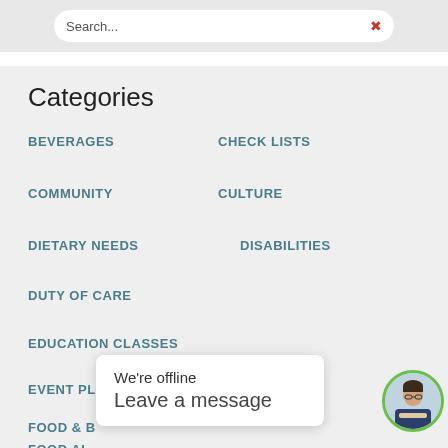Categories
BEVERAGES
CHECK LISTS
COMMUNITY
CULTURE
DIETARY NEEDS
DISABILITIES
DUTY OF CARE
EDUCATION CLASSES
EVENT PLANNING SKILLS
FOOD & B...
FOOD AL...
We're offline
Leave a message